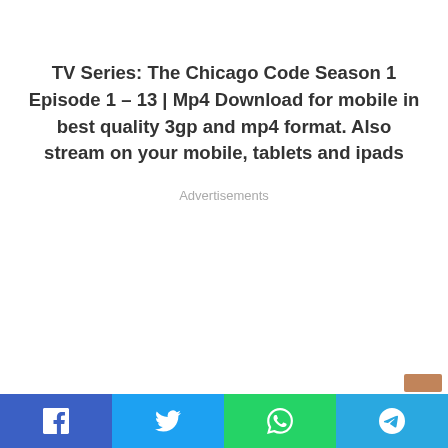TV Series: The Chicago Code Season 1 Episode 1 – 13 | Mp4 Download for mobile in best quality 3gp and mp4 format. Also stream on your mobile, tablets and ipads
Advertisements
Social share bar with Facebook, Twitter, WhatsApp, Telegram icons